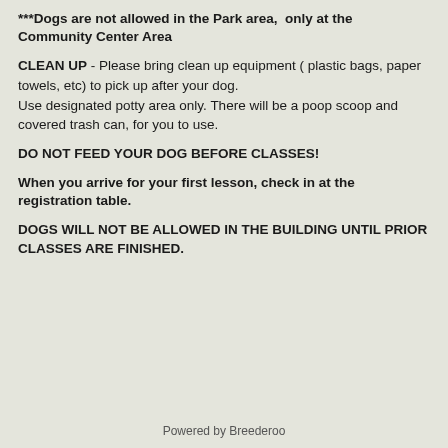***Dogs are not allowed in the Park area, only at the Community Center Area
CLEAN UP - Please bring clean up equipment ( plastic bags, paper towels, etc) to pick up after your dog. Use designated potty area only. There will be a poop scoop and covered trash can, for you to use.
DO NOT FEED YOUR DOG BEFORE CLASSES!
When you arrive for your first lesson, check in at the registration table.
DOGS WILL NOT BE ALLOWED IN THE BUILDING UNTIL PRIOR CLASSES ARE FINISHED.
Powered by Breederoo